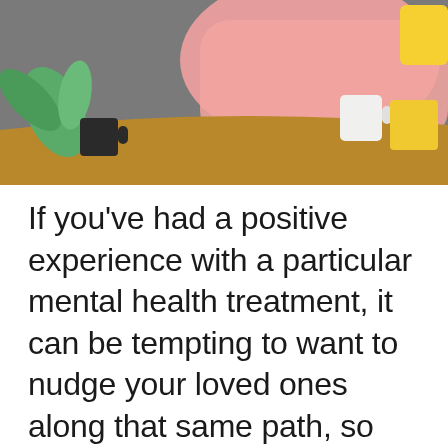[Figure (illustration): Decorative illustration showing a desk scene with abstract shapes, a plant with green leaves, a pink/salmon background, a yellow cup and dark mug on a brown/tan surface, against a grey background.]
If you've had a positive experience with a particular mental health treatment, it can be tempting to want to nudge your loved ones along that same path, so that they can reap similar rewards. But how can you do it sensitively, and what happens if they aren't...